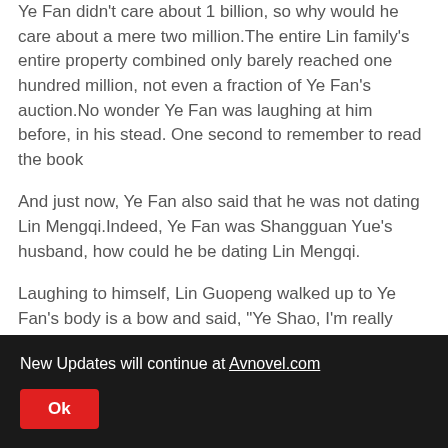Ye Fan didn't care about 1 billion, so why would he care about a mere two million.The entire Lin family's entire property combined only barely reached one hundred million, not even a fraction of Ye Fan's auction.No wonder Ye Fan was laughing at him before, in his stead. One second to remember to read the book
And just now, Ye Fan also said that he was not dating Lin Mengqi.Indeed, Ye Fan was Shangguan Yue's husband, how could he be dating Lin Mengqi.
Laughing to himself, Lin Guopeng walked up to Ye Fan's body is a bow and said, "Ye Shao, I'm really sorry, I hope you don't mind."
"It's fine, sit."Ye Fan waved his hand, a faint smile hanging
New Updates will continue at Avnovel.com
Ok